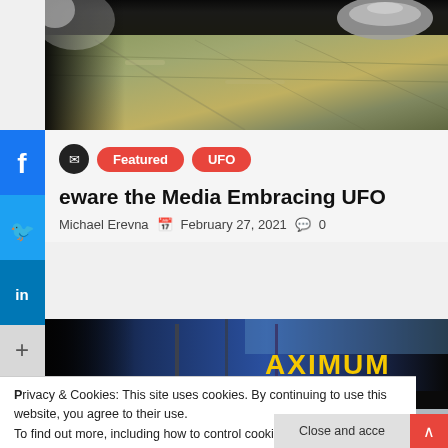[Figure (photo): Aerial or landscape photo viewed from above, possibly showing a disc-shaped object in upper right corner against a greenish terrain below]
Featured   UFO
Beware the Media Embracing UFO
Michael Erevna   February 27, 2021   0
[Figure (photo): Photo of a vehicle or truck with text 'AXIMUM' visible in yellow on a dark background]
Privacy & Cookies: This site uses cookies. By continuing to use this website, you agree to their use.
To find out more, including how to control cookies, see here:
Cookie Policy
Close and acce